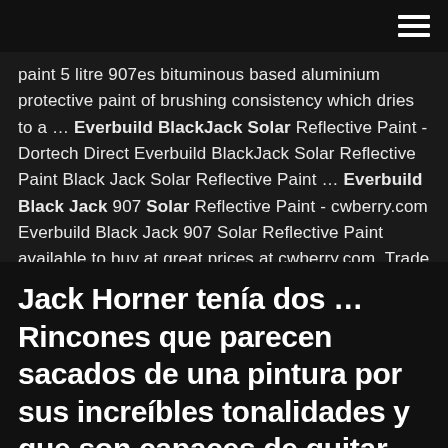[hamburger menu icon]
paint 5 litre 907es bituminous based aluminium protective paint of brushing consistency which dries to a ... Everbuild BlackJack Solar Reflective Paint - Dortech Direct Everbuild BlackJack Solar Reflective Paint Black Jack Solar Reflective Paint ... Everbuild Black Jack 907 Solar Reflective Paint - cwberry.com Everbuild Black Jack 907 Solar Reflective Paint available to buy at great prices at cwberry.com. Trade & DIY always welcome.
Jack Horner tenía dos … Rincones que parecen sacados de una pintura por sus increíbles tonalidades y que son capaces de quitar … "Black Panther